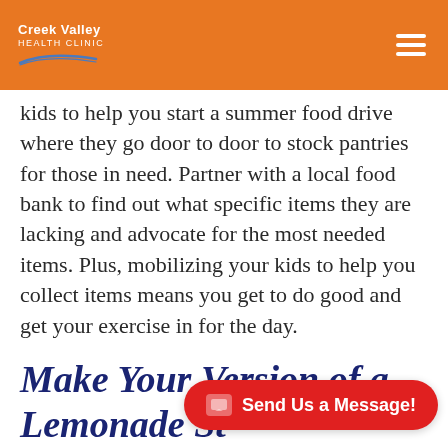Creek Valley Health Clinic
kids to help you start a summer food drive where they go door to door to stock pantries for those in need. Partner with a local food bank to find out what specific items they are lacking and advocate for the most needed items. Plus, mobilizing your kids to help you collect items means you get to do good and get your exercise in for the day.
Make Your Version of a Lemonade St…